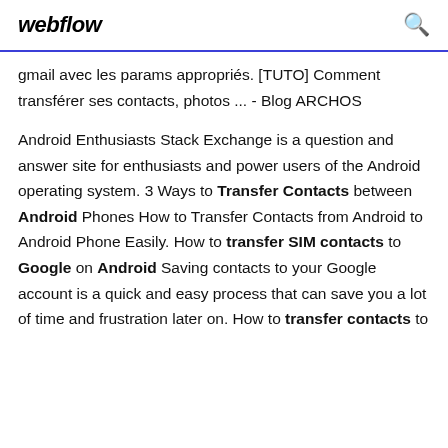webflow
gmail avec les params appropriés. [TUTO] Comment transférer ses contacts, photos ... - Blog ARCHOS
Android Enthusiasts Stack Exchange is a question and answer site for enthusiasts and power users of the Android operating system. 3 Ways to Transfer Contacts between Android Phones How to Transfer Contacts from Android to Android Phone Easily. How to transfer SIM contacts to Google on Android Saving contacts to your Google account is a quick and easy process that can save you a lot of time and frustration later on. How to transfer contacts to